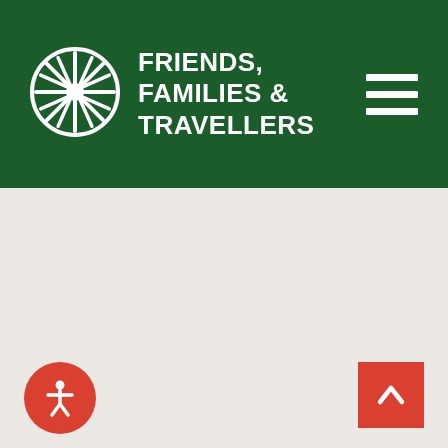Friends, Families & Travellers
[Figure (logo): Friends, Families & Travellers organization logo with circular wheel/sun motif in white on dark green background, with hamburger menu icon on the right]
[Figure (other): Accessibility icon button (red circular button with white person/accessibility symbol) in bottom left corner]
[Figure (other): Back to top button (red square button with white upward chevron arrow) in bottom right corner]